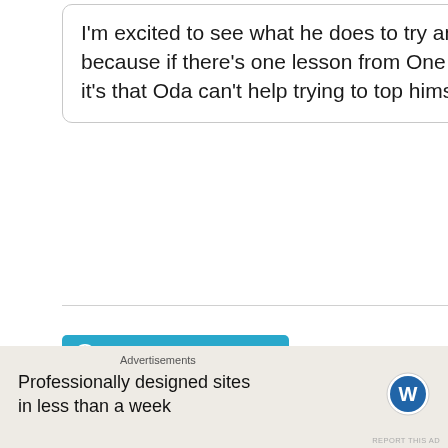I'm excited to see what he does to try and top it, because if there's one lesson from One Piece, it's that Oda can't help trying to top himself.
[Figure (illustration): Anime-style illustration with bold colors showing comic book art characters on a yellow and black background]
Advertisements
Professionally designed sites in less than a week